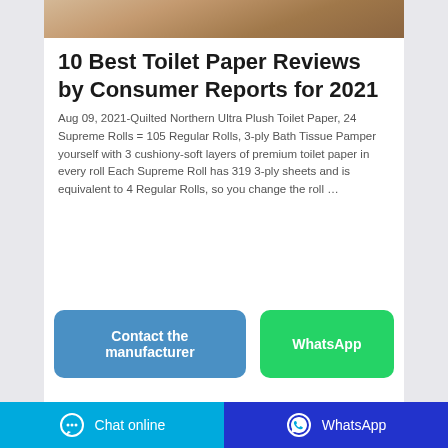[Figure (photo): Partial photo of toilet paper rolls on a wooden surface, cropped at top]
10 Best Toilet Paper Reviews by Consumer Reports for 2021
Aug 09, 2021-Quilted Northern Ultra Plush Toilet Paper, 24 Supreme Rolls = 105 Regular Rolls, 3-ply Bath Tissue Pamper yourself with 3 cushiony-soft layers of premium toilet paper in every roll Each Supreme Roll has 319 3-ply sheets and is equivalent to 4 Regular Rolls, so you change the roll …
Contact the manufacturer
WhatsApp
Chat online  WhatsApp